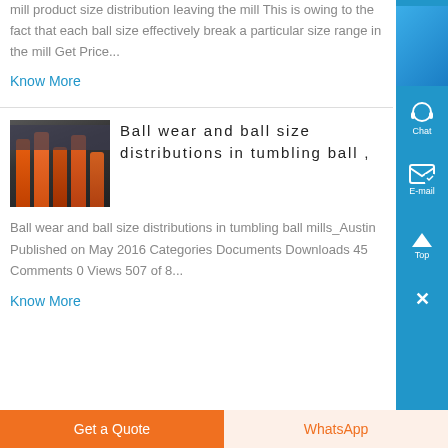mill product size distribution leaving the mill This is owing to the fact that each ball size effectively break a particular size range in the mill Get Price...
Know More
[Figure (photo): Industrial machinery with orange cylindrical pipes/rollers]
Ball wear and ball size distributions in tumbling ball ,
Ball wear and ball size distributions in tumbling ball mills_Austin Published on May 2016 Categories Documents Downloads 45 Comments 0 Views 507 of 8...
Know More